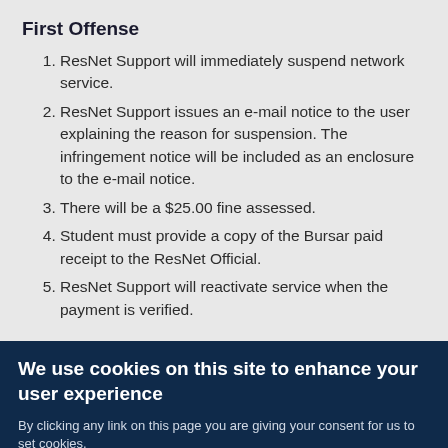First Offense
ResNet Support will immediately suspend network service.
ResNet Support issues an e-mail notice to the user explaining the reason for suspension. The infringement notice will be included as an enclosure to the e-mail notice.
There will be a $25.00 fine assessed.
Student must provide a copy of the Bursar paid receipt to the ResNet Official.
ResNet Support will reactivate service when the payment is verified.
We use cookies on this site to enhance your user experience
By clicking any link on this page you are giving your consent for us to set cookies.
I AGREE